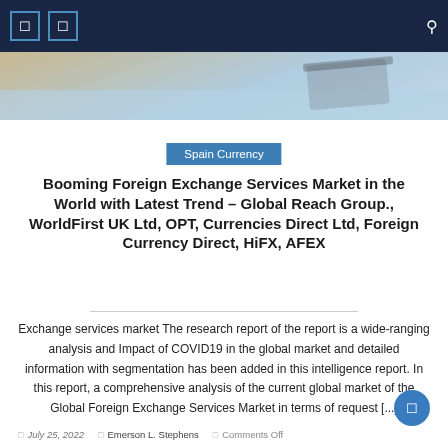Spain Currency
[Figure (screenshot): Website navigation bar with dark navy background showing two square icon buttons on the left and a search icon on the right, with a partial hero/banner image below showing blurred glasses and light background]
Spain Currency
Booming Foreign Exchange Services Market in the World with Latest Trend – Global Reach Group., WorldFirst UK Ltd, OPT, Currencies Direct Ltd, Foreign Currency Direct, HiFX, AFEX
Exchange services market The research report of the report is a wide-ranging analysis and Impact of COVID19 in the global market and detailed information with segmentation has been added in this intelligence report. In this report, a comprehensive analysis of the current global market of the Global Foreign Exchange Services Market in terms of request [...]
July 25, 2022   Emerson L. Stephens   Comments Off